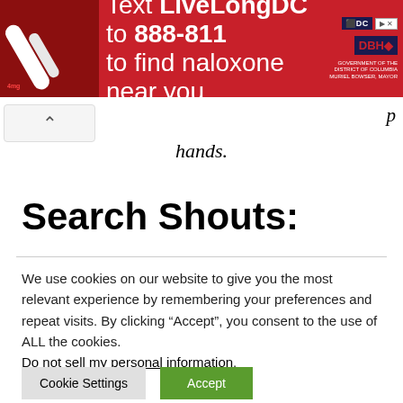[Figure (infographic): Red advertisement banner: Text LiveLongDC to 888-811 to find naloxone near you. Features DC and DBH logos and an ad close button.]
hands.
Search Shouts:
We use cookies on our website to give you the most relevant experience by remembering your preferences and repeat visits. By clicking “Accept”, you consent to the use of ALL the cookies.
Do not sell my personal information.